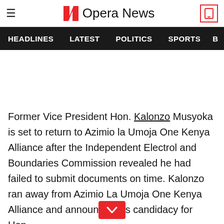Opera News
HEADLINES  LATEST  POLITICS  SPORTS
Former Vice President Hon. Kalonzo Musyoka is set to return to Azimio la Umoja One Kenya Alliance after the Independent Electrol and Boundaries Commission revealed he had failed to submit documents on time. Kalonzo ran away from Azimio La Umoja One Kenya Alliance and announced his candidacy for Hon.